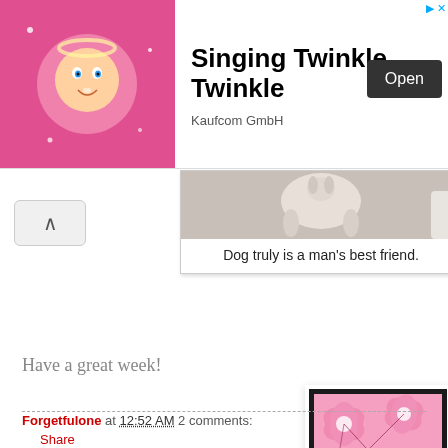[Figure (screenshot): Ad banner: animated baby character on pink background, app title 'Singing Twinkle Twinkle', publisher 'Kaufcom GmbH', with Open button]
[Figure (photo): Dog photo card showing a dog from behind on a floor, with caption 'Dog truly is a man's best friend.']
Have a great week!
[Figure (illustration): Pink floral square badge with text 'forgetfulone' on white background with black border]
Forgetfulone at 12:52 AM    2 comments:
Share